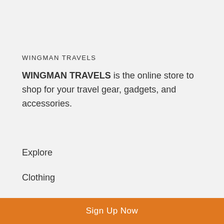WINGMAN TRAVELS
WINGMAN TRAVELS is the online store to shop for your travel gear, gadgets, and accessories.
Explore
Clothing
Search
Sign Up Now